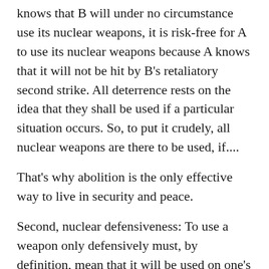knows that B will under no circumstance use its nuclear weapons, it is risk-free for A to use its nuclear weapons because A knows that it will not be hit by B's retaliatory second strike. All deterrence rests on the idea that they shall be used if a particular situation occurs. So, to put it crudely, all nuclear weapons are there to be used, if....
That's why abolition is the only effective way to live in security and peace.
Second, nuclear defensiveness: To use a weapon only defensively must, by definition, mean that it will be used on one's immediate land and sea territory, and will thus have short range and limited destruction capacity. None of it applies to nuclear weapons. No country or people would accept the use of nuclear weapons on their own territory against an